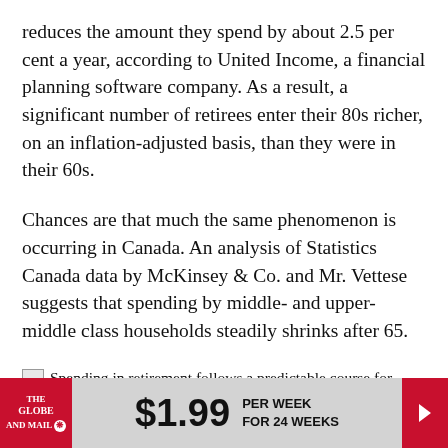reduces the amount they spend by about 2.5 per cent a year, according to United Income, a financial planning software company. As a result, a significant number of retirees enter their 80s richer, on an inflation-adjusted basis, than they were in their 60s.
Chances are that much the same phenomenon is occurring in Canada. An analysis of Statistics Canada data by McKinsey & Co. and Mr. Vettese suggests that spending by middle- and upper-middle class households steadily shrinks after 65.
Spending in retirement follows a predictable course for most people – it's highest in the first few years after you quit work, then fades, before spiking again in advanced
$1.99 PER WEEK FOR 24 WEEKS